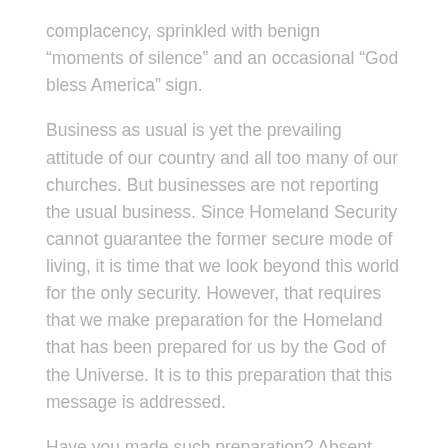complacency, sprinkled with benign “moments of silence” and an occasional “God bless America” sign.
Business as usual is yet the prevailing attitude of our country and all too many of our churches. But businesses are not reporting the usual business. Since Homeland Security cannot guarantee the former secure mode of living, it is time that we look beyond this world for the only security. However, that requires that we make preparation for the Homeland that has been prepared for us by the God of the Universe. It is to this preparation that this message is addressed.
Have you made such preparation? Absent that preparation, there is a default homeland which is separation from God eternally, biblically called “Hell.” Each of us is born in Adam, with the default homeland as our sure destination. On the other hand, the Lord